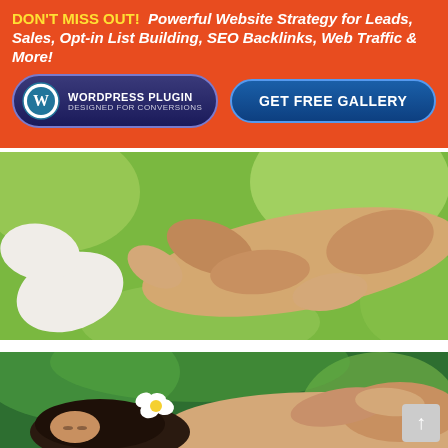DON'T MISS OUT! Powerful Website Strategy for Leads, Sales, Opt-in List Building, SEO Backlinks, Web Traffic & More!
[Figure (infographic): WordPress Plugin button: 'WordPress Plugin Designed for Conversions' with WP logo, and a 'GET FREE GALLERY' button, both on orange banner background]
[Figure (photo): Close-up photo of a massage therapist's hands massaging a client's foot/leg, with green blurred background]
[Figure (photo): Photo of a woman receiving a back massage, with a white flower in her dark hair, green tropical background]